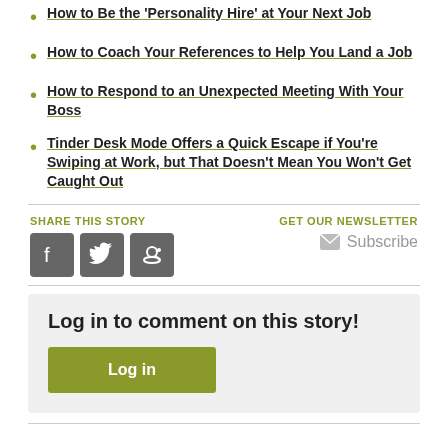How to Be the 'Personality Hire' at Your Next Job
How to Coach Your References to Help You Land a Job
How to Respond to an Unexpected Meeting With Your Boss
Tinder Desk Mode Offers a Quick Escape if You're Swiping at Work, but That Doesn't Mean You Won't Get Caught Out
SHARE THIS STORY
GET OUR NEWSLETTER
Subscribe
Log in to comment on this story!
Log in